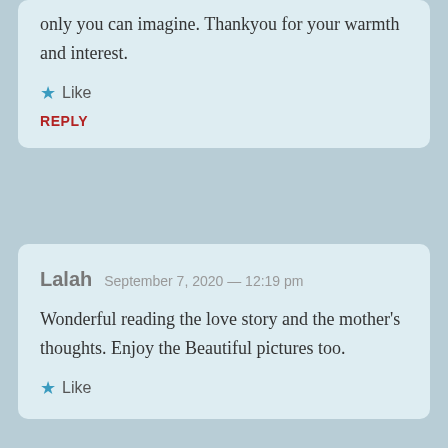only you can imagine. Thankyou for your warmth and interest.
★ Like
REPLY
Lalah  September 7, 2020 — 12:19 pm
Wonderful reading the love story and the mother's thoughts. Enjoy the Beautiful pictures too.
★ Like